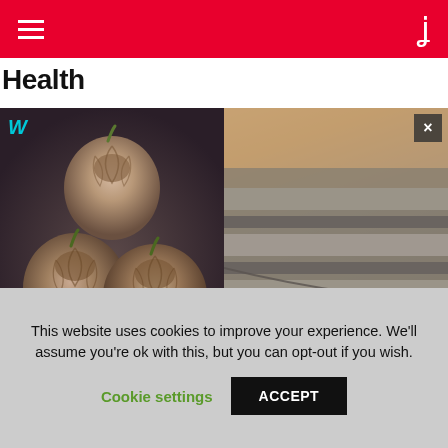Health
Health
[Figure (photo): Two-panel image: left panel shows three garlic bulbs on dark background with a cyan W logo; right panel shows striped pillow/cushion in grey and beige tones with a close button (×) overlay.]
144 Shares    Buzz & Trends    Food and Health
This website uses cookies to improve your experience. We'll assume you're ok with this, but you can opt-out if you wish.
Cookie settings    ACCEPT